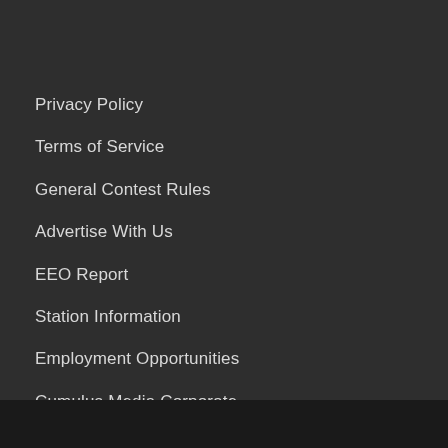Privacy Policy
Terms of Service
General Contest Rules
Advertise With Us
EEO Report
Station Information
Employment Opportunities
Cumulus Media Corporate
Public File